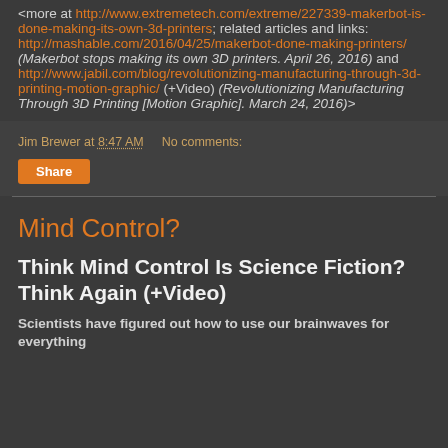<more at http://www.extremetech.com/extreme/227339-makerbot-is-done-making-its-own-3d-printers; related articles and links: http://mashable.com/2016/04/25/makerbot-done-making-printers/ (Makerbot stops making its own 3D printers. April 26, 2016) and http://www.jabil.com/blog/revolutionizing-manufacturing-through-3d-printing-motion-graphic/ (+Video) (Revolutionizing Manufacturing Through 3D Printing [Motion Graphic]. March 24, 2016)>
Jim Brewer at 8:47 AM   No comments:
Share
Mind Control?
Think Mind Control Is Science Fiction? Think Again (+Video)
Scientists have figured out how to use our brainwaves for everything